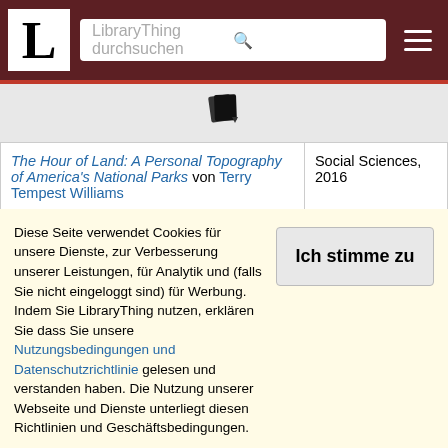LibraryThing durchsuchen
[Figure (other): Book/document icon with dropdown arrow]
| Book | Category, Year |
| --- | --- |
| The Hour of Land: A Personal Topography of America's National Parks von Terry Tempest Williams | Social Sciences, 2016 |
| How I Became a North Korean: A Novel von Krys Lee | Fiction, 2016 |
| A Hundred Thousand Worlds von Bob Proehl | Fiction, 2016 |
| I'm Supposed to Protect You from All This: A ... | Arts & |
Diese Seite verwendet Cookies für unsere Dienste, zur Verbesserung unserer Leistungen, für Analytik und (falls Sie nicht eingeloggt sind) für Werbung. Indem Sie LibraryThing nutzen, erklären Sie dass Sie unsere Nutzungsbedingungen und Datenschutzrichtlinie gelesen und verstanden haben. Die Nutzung unserer Webseite und Dienste unterliegt diesen Richtlinien und Geschäftsbedingungen.
Ich stimme zu